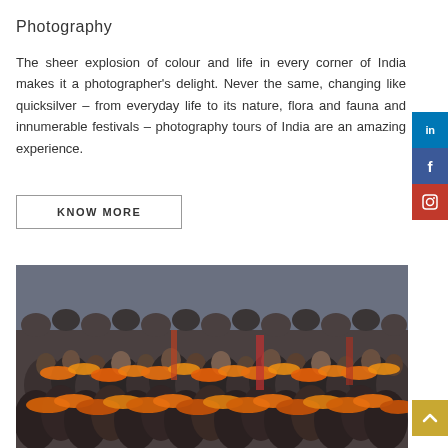Photography
The sheer explosion of colour and life in every corner of India makes it a photographer's delight. Never the same, changing like quicksilver – from everyday life to its nature, flora and fauna and innumerable festivals – photography tours of India are an amazing experience.
KNOW MORE
[Figure (photo): A dense crowd of sadhus and devotees adorned with bright orange and yellow marigold garlands at what appears to be a large Hindu festival or Kumbh Mela procession.]